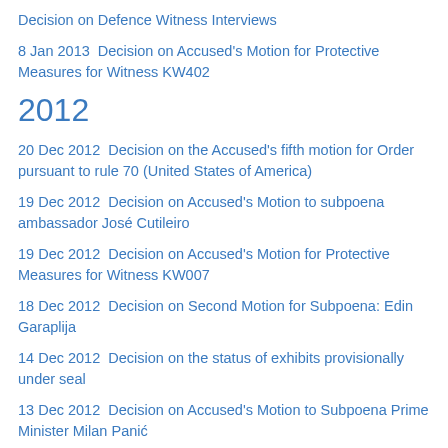Decision on Defence Witness Interviews
8 Jan 2013  Decision on Accused's Motion for Protective Measures for Witness KW402
2012
20 Dec 2012  Decision on the Accused's fifth motion for Order pursuant to rule 70 (United States of America)
19 Dec 2012  Decision on Accused's Motion to subpoena ambassador José Cutileiro
19 Dec 2012  Decision on Accused's Motion for Protective Measures for Witness KW007
18 Dec 2012  Decision on Second Motion for Subpoena: Edin Garaplija
14 Dec 2012  Decision on the status of exhibits provisionally under seal
13 Dec 2012  Decision on Accused's Motion to Subpoena Prime Minister Milan Panić
11 Dec 2012  Decision on Appeal from Denial of Judgement of Acquittal for Hostage-Taking
7 Dec 2012  Decision on accused's motions to admit